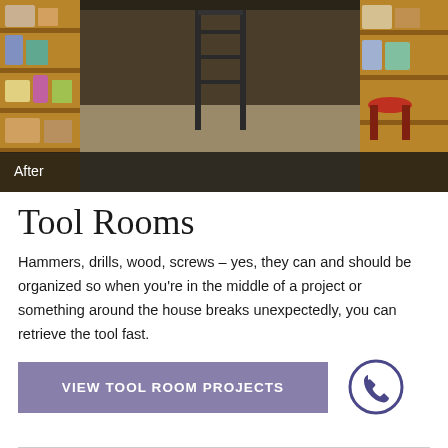[Figure (photo): Workshop/tool room interior photo showing wooden shelves with tools and supplies on the left, concrete floor, and various equipment. Overlay label 'After' in bottom-left corner on dark semi-transparent bar.]
Tool Rooms
Hammers, drills, wood, screws – yes, they can and should be organized so when you're in the middle of a project or something around the house breaks unexpectedly, you can retrieve the tool fast.
VIEW TOOL ROOM PROJECTS